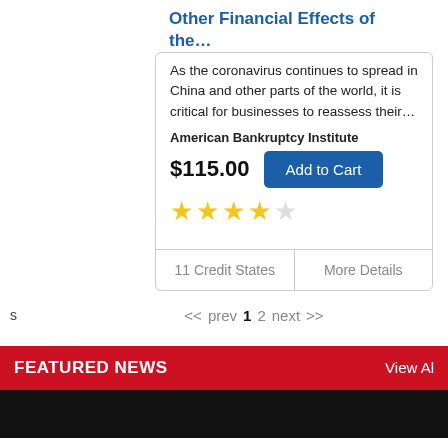Other Financial Effects of the…
As the coronavirus continues to spread in China and other parts of the world, it is critical for businesses to reassess their…
American Bankruptcy Institute
$115.00
Add to Cart
[Figure (other): 4 filled gold stars and 1 empty star rating]
11 Credit States
More Details
<< prev 1 2 next >>
FEATURED NEWS
View All
We use cookies to optimize the experience on our website. By continuing to use our website, you are agreeing to our cookies.
OK